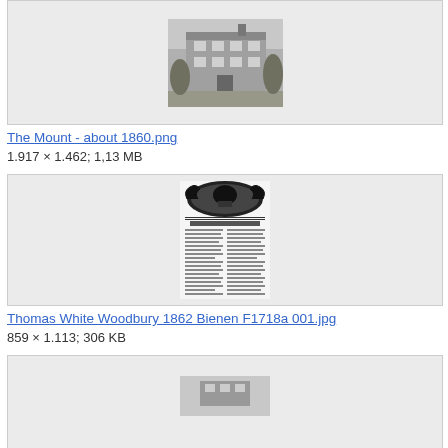[Figure (photo): Black and white photograph of The Mount building circa 1860, a large multi-story house with ivy]
The Mount - about 1860.png
1.917 × 1.462; 1,13 MB
[Figure (photo): Black and white image of Thomas White Woodbury 1862 Bienen F1718a 001, an ornate historical document with decorative header]
Thomas White Woodbury 1862 Bienen F1718a 001.jpg
859 × 1.113; 306 KB
[Figure (photo): Partial view of a third image, cropped at bottom of page]